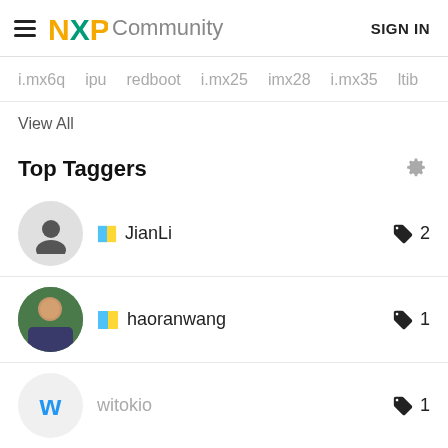NXP Community   SIGN IN
i.mx6q   ipu   redboot   i.mx25   imx28   i.mx35   ltib
View All
Top Taggers
JianLi  2
haoranwang  1
witokio  1